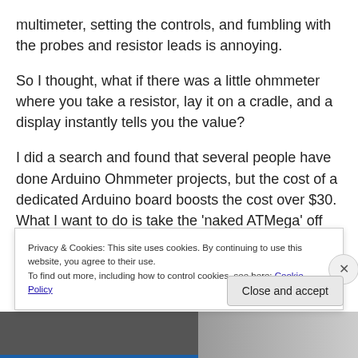multimeter, setting the controls, and fumbling with the probes and resistor leads is annoying.
So I thought, what if there was a little ohmmeter where you take a resistor, lay it on a cradle, and a display instantly tells you the value?
I did a search and found that several people have done Arduino Ohmmeter projects, but the cost of a dedicated Arduino board boosts the cost over $30. What I want to do is take the 'naked ATMega' off the Ardruino and make an
Privacy & Cookies: This site uses cookies. By continuing to use this website, you agree to their use.
To find out more, including how to control cookies, see here: Cookie Policy